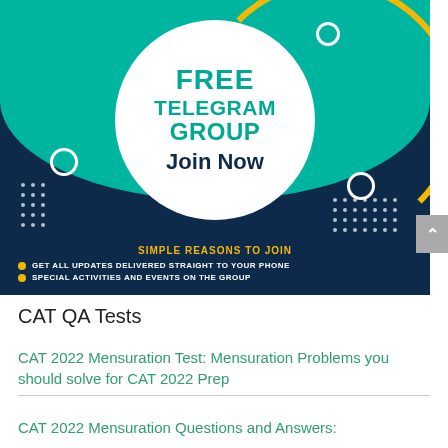[Figure (infographic): Free Telegram Group promotional banner with teal and dark navy background. Large white circle in center with 'FREE TELEGRAM GROUP Join Now' text. Yellow gold arc decoration. White dot grids. Bottom section lists: 'SIMPLE REASONS TO JOIN - GET ALL UPDATES DELIVERED STRAIGHT TO YOUR PHONE - SPECIAL ACTIVITIES AND EVENTS ON THE GROUP']
CAT QA Tests
CAT 2022 Mensuration Test: Mensuration Problems you should solve for CAT 2022 Prep
CAT 2022 Mensuration Questions and Answers: